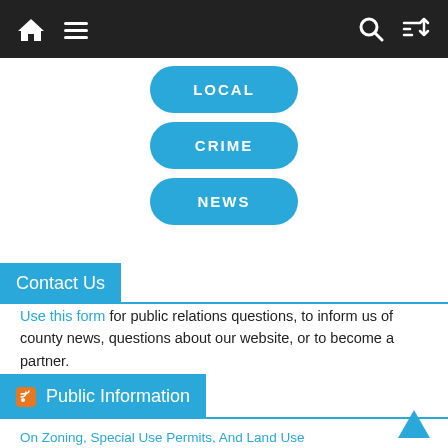[Figure (screenshot): Navigation bar with home icon, hamburger menu, search icon, and shuffle icon on dark background]
[Figure (infographic): Three blue pill-shaped buttons labeled LOCAL, CRIME, and NEWS stacked vertically in center of page]
Contact Us
Use this form for public relations questions, to inform us of county news, questions about our website, or to become a partner.
Public Information
On Zoning, Special Use Permits, And Land Use